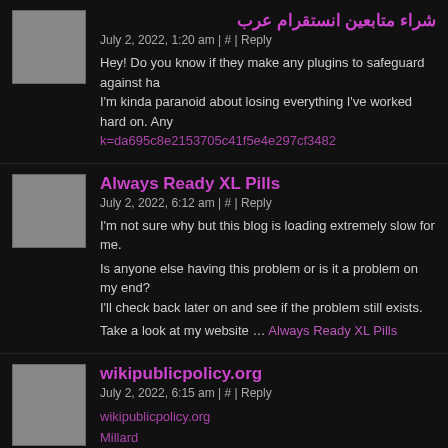شراء متابعين انستقرام عرب — July 2, 2022, 1:20 am | # | Reply — Hey! Do you know if they make any plugins to safeguard against ha I'm kinda paranoid about losing everything I've worked hard on. Any k=da695c8e2153705c41f5e4e297cf3482
Always Ready XL Pills — July 2, 2022, 6:12 am | # | Reply — I'm not sure why but this blog is loading extremely slow for me. Is anyone else having this problem or is it a problem on my end? I'll check back later on and see if the problem still exists. Take a look at my website … Always Ready XL Pills
wikipublicpolicy.org — July 2, 2022, 6:15 am | # | Reply — wikipublicpolicy.org Millard balance of nature Millard Millard
Marisa